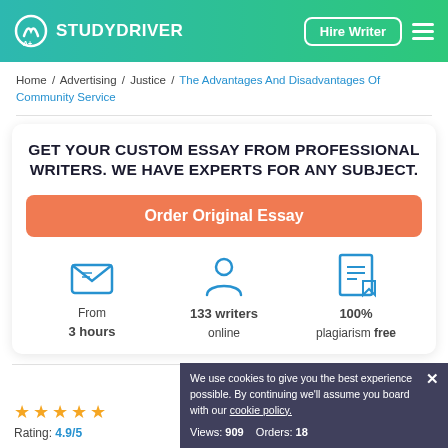STUDYDRIVER | Hire Writer
Home / Advertising / Justice / The Advantages And Disadvantages Of Community Service
GET YOUR CUSTOM ESSAY FROM PROFESSIONAL WRITERS. WE HAVE EXPERTS FOR ANY SUBJECT.
Order Original Essay
From 3 hours
133 writers online
100% plagiarism free
Rating: 4.9/5
We use cookies to give you the best experience possible. By continuing we'll assume you board with our cookie policy.
Views: 909   Orders: 18